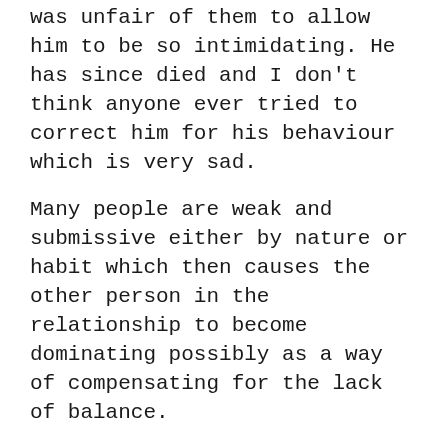was unfair of them to allow him to be so intimidating. He has since died and I don't think anyone ever tried to correct him for his behaviour which is very sad.
Many people are weak and submissive either by nature or habit which then causes the other person in the relationship to become dominating possibly as a way of compensating for the lack of balance.
Power corrupts people and we should be very careful who we give power to. Also, giving power away willy-nilly is unfair to the other person in the relationship and we need to check if we are guilty of that before blaming the 'manipulative' one.